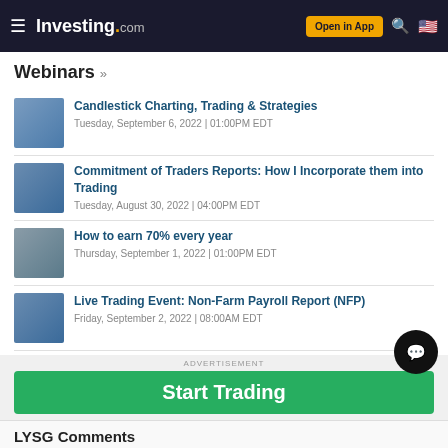Investing.com — Open in App
Webinars »
Candlestick Charting, Trading & Strategies — Tuesday, September 6, 2022 | 01:00PM EDT
Commitment of Traders Reports: How I Incorporate them into Trading — Tuesday, August 30, 2022 | 04:00PM EDT
How to earn 70% every year — Thursday, September 1, 2022 | 01:00PM EDT
Live Trading Event: Non-Farm Payroll Report (NFP) — Friday, September 2, 2022 | 08:00AM EDT
ADVERTISEMENT
Start Trading
LYSG Comments